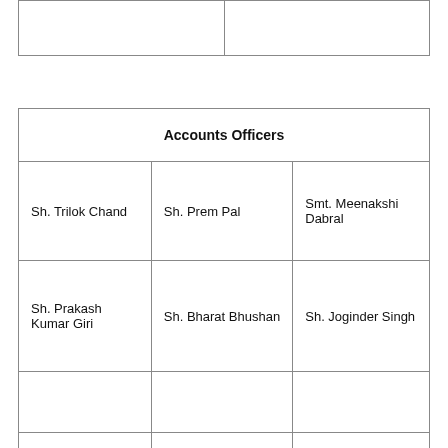|  |  |
| Accounts Officers |  |  |
| --- | --- | --- |
| Sh. Trilok Chand | Sh. Prem Pal | Smt. Meenakshi Dabral |
| Sh. Prakash Kumar Giri | Sh. Bharat Bhushan | Sh. Joginder Singh |
|  |  |  |
| Sh. Anil Kumar | Shri Satish Kumar Yadav | Sh. Upendra Kumar |